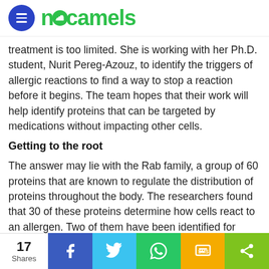nocamels
treatment is too limited. She is working with her Ph.D. student, Nurit Pereg-Azouz, to identify the triggers of allergic reactions to find a way to stop a reaction before it begins. The team hopes that their work will help identify proteins that can be targeted by medications without impacting other cells.
Getting to the root
The answer may lie with the Rab family, a group of 60 proteins that are known to regulate the distribution of proteins throughout the body. The researchers found that 30 of these proteins determine how cells react to an allergen. Two of them have been identified for further research as instruments of preventative medication.
17 Shares | Facebook | Twitter | WhatsApp | SMS | Share